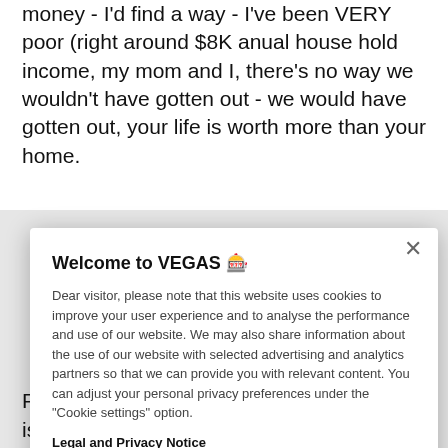money - I'd find a way - I've been VERY poor (right around $8K anual house hold income, my mom and I, there's no way we wouldn't have gotten out - we would have gotten out, your life is worth more than your home.
[Figure (screenshot): Cookie consent modal overlay with title 'Welcome to VEGAS', cookie policy text, Legal and Privacy Notice link, Cookies Settings button, and OK button.]
First of all, I'm not terribly surprised that aid isn't pouring in